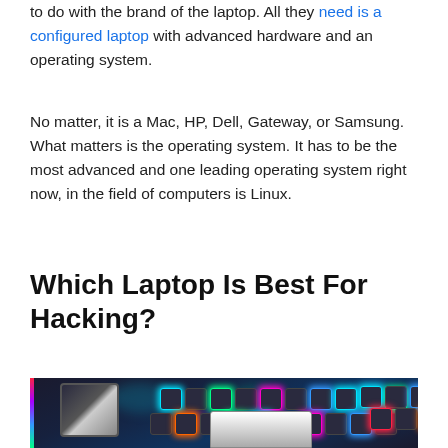to do with the brand of the laptop. All they need is a configured laptop with advanced hardware and an operating system.
No matter, it is a Mac, HP, Dell, Gateway, or Samsung. What matters is the operating system. It has to be the most advanced and one leading operating system right now, in the field of computers is Linux.
Which Laptop Is Best For Hacking?
[Figure (photo): Photo of multiple laptops with colorful illuminated RGB keyboards (cyan, green, pink, orange, blue, red backlit keys) on a dark background, viewed from above at an angle.]